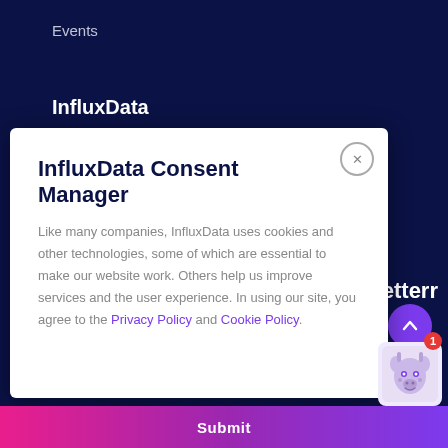Events
InfluxData
InfluxData Consent Manager
Like many companies, InfluxData uses cookies and other technologies, some of which are essential to make our website work. Others help us improve services and the user experience. In using our site, you agree to the Privacy Policy and Cookie Policy.
wsletterr
Submit